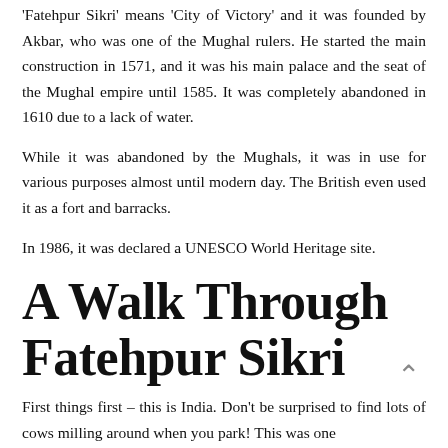'Fatehpur Sikri' means 'City of Victory' and it was founded by Akbar, who was one of the Mughal rulers. He started the main construction in 1571, and it was his main palace and the seat of the Mughal empire until 1585. It was completely abandoned in 1610 due to a lack of water.
While it was abandoned by the Mughals, it was in use for various purposes almost until modern day. The British even used it as a fort and barracks.
In 1986, it was declared a UNESCO World Heritage site.
A Walk Through Fatehpur Sikri
First things first – this is India. Don't be surprised to find lots of cows milling around when you park! This was one